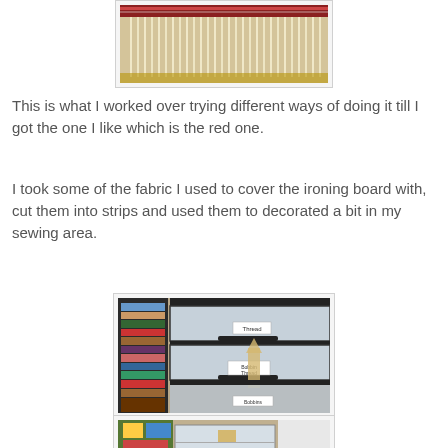[Figure (photo): Top portion of a weaving loom with vertical warp threads and a red/white woven pattern at the top]
This is what I worked over trying different ways of doing it till I got the one I like which is the red one.
I took some of the fabric I used to cover the ironing board with, cut them into strips and used them to decorated a bit in my sewing area.
[Figure (photo): Sewing area storage: plastic drawer units with labels 'Thread' and 'Bobbin Thread', fabric shelf on the left with colorful folded fabrics]
[Figure (photo): Partial view of sewing area with plastic storage drawers and colorful fabrics/items]